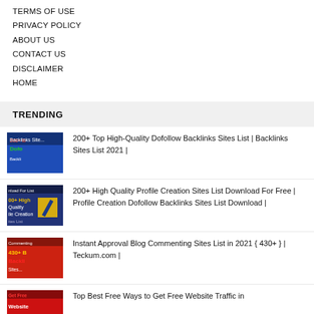TERMS OF USE
PRIVACY POLICY
ABOUT US
CONTACT US
DISCLAIMER
HOME
TRENDING
[Figure (photo): Thumbnail for dofollow backlinks article]
200+ Top High-Quality Dofollow Backlinks Sites List | Backlinks Sites List 2021 |
[Figure (photo): Thumbnail for profile creation sites article]
200+ High Quality Profile Creation Sites List Download For Free | Profile Creation Dofollow Backlinks Sites List Download |
[Figure (photo): Thumbnail for blog commenting sites article]
Instant Approval Blog Commenting Sites List in 2021 { 430+ } | Teckum.com |
[Figure (photo): Thumbnail for free website traffic article]
Top Best Free Ways to Get Free Website Traffic in